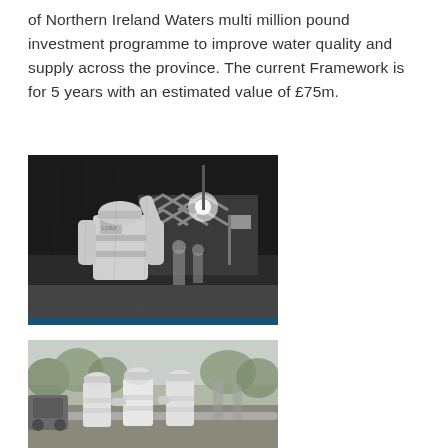of Northern Ireland Waters multi million pound investment programme to improve water quality and supply across the province. The current Framework is for 5 years with an estimated value of £75m.
[Figure (photo): Black and white photograph of a construction worker in a high-visibility jacket and hard hat, viewed from behind, standing at a work site at night with lights and other workers in the background.]
[Figure (photo): Black and white photograph of three workers in high-visibility jackets and hard hats standing together outdoors at a construction or infrastructure site, with trees and equipment visible in the background.]